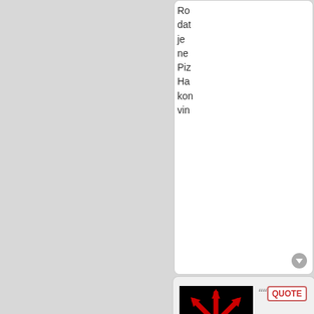Ro dat je ne Piz Ha kon vin
[Figure (other): Forum post panel with user avatar showing red chaos star on black background, username Hurdergaryp, Post Czar, Posts: 43451, Founded: Jul 10, 2016, Democratic Socialists, with QUOTE button and post timestamp Tue Sep 24, 2019 8:45 am]